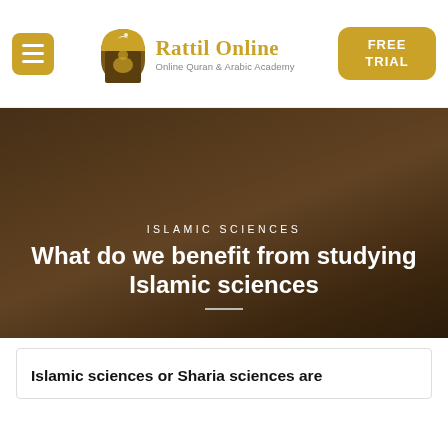Rattil Online — Online Quran & Arabic Academy
[Figure (photo): Man in white shirt sitting cross-legged reading a book/Quran, dark warm-toned background overlay]
ISLAMIC SCIENCES
What do we benefit from studying Islamic sciences
Islamic sciences or Sharia sciences are